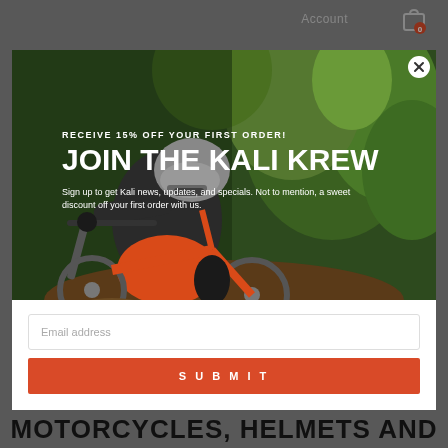Account  [cart: 0]
[Figure (photo): Mountain biker wearing gray helmet and dark jacket riding an orange bike through a wooded trail with green foliage. Modal popup with email signup overlay.]
RECEIVE 15% OFF YOUR FIRST ORDER!
JOIN THE KALI KREW
Sign up to get Kali news, updates, and specials. Not to mention, a sweet discount off your first order with us.
Email address
SUBMIT
THE INTERSECTION OF
MOTORCYCLES, HELMETS AND